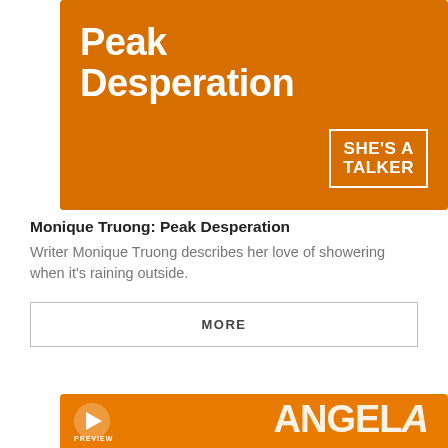[Figure (illustration): Orange podcast cover art banner with text 'Peak Desperation' and 'SHE'S A TALKER' badge on orange background with person silhouette]
Monique Truong: Peak Desperation
Writer Monique Truong describes her love of showering when it's raining outside.
MORE
[Figure (illustration): Partial orange banner at bottom with PREVIEW label and partial ANGELA text visible]